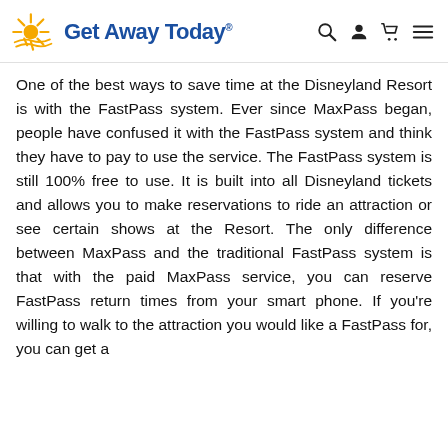Get Away Today
One of the best ways to save time at the Disneyland Resort is with the FastPass system. Ever since MaxPass began, people have confused it with the FastPass system and think they have to pay to use the service. The FastPass system is still 100% free to use. It is built into all Disneyland tickets and allows you to make reservations to ride an attraction or see certain shows at the Resort. The only difference between MaxPass and the traditional FastPass system is that with the paid MaxPass service, you can reserve FastPass return times from your smart phone. If you're willing to walk to the attraction you would like a FastPass for, you can get a